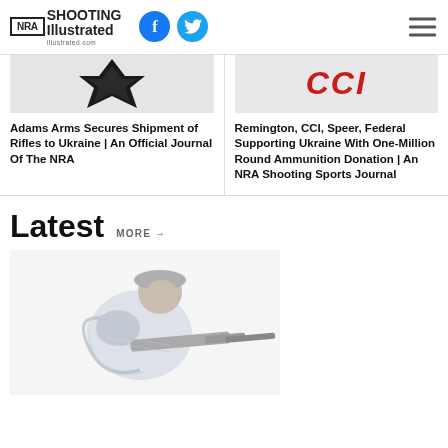NRA Shooting Illustrated
Adams Arms Secures Shipment of Rifles to Ukraine | An Official Journal Of The NRA
Remington, CCI, Speer, Federal Supporting Ukraine With One-Million Round Ammunition Donation | An NRA Shooting Sports Journal
Latest MORE →
[Figure (photo): Person in shooting stance with protective gear, aiming a firearm]